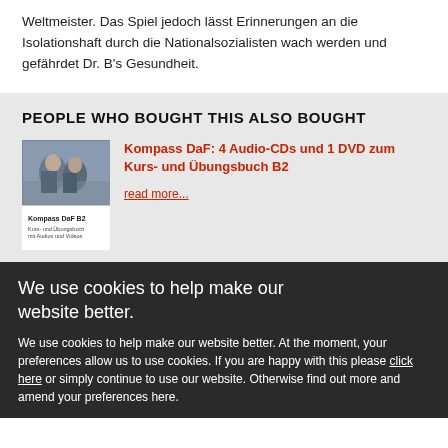Weltmeister. Das Spiel jedoch lässt Erinnerungen an die Isolationshaft durch die Nationalsozialisten wach werden und gefährdet Dr. B's Gesundheit.
PEOPLE WHO BOUGHT THIS ALSO BOUGHT
[Figure (photo): Book cover for Kompass DaF B2 with two people and a teal stripe at the bottom]
Kompass DaF: 4 Audio-CDs und 1 DVD zum Kurs- und Übungsbuch B2
read more...
We use cookies to help make our website better.
We use cookies to help make our website better. At the moment, your preferences allow us to use cookies. If you are happy with this please click here or simply continue to use our website. Otherwise find out more and amend your preferences here.